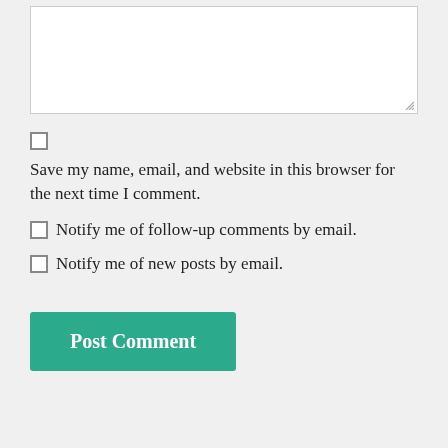[text area input box]
Save my name, email, and website in this browser for the next time I comment.
Notify me of follow-up comments by email.
Notify me of new posts by email.
Post Comment